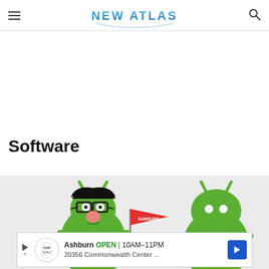NEW ATLAS
Software
[Figure (photo): Two green Android figurines on a light gray background. One wears novelty glasses with a fake nose, the other holds a red Samsung pennant flag. A third plain Android figurine is visible on the right.]
Ashburn OPEN | 10AM–11PM
20356 Commonwealth Center ...